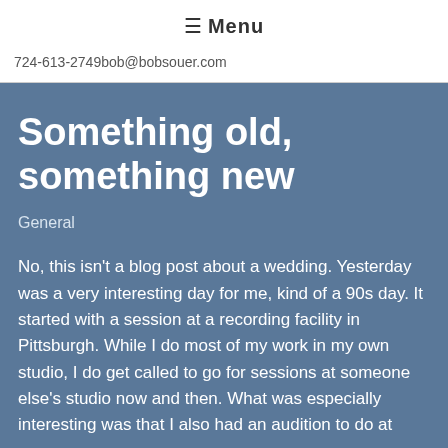≡ Menu
724-613-2749bob@bobsouer.com
Something old, something new
General
No, this isn't a blog post about a wedding. Yesterday was a very interesting day for me, kind of a 90s day. It started with a session at a recording facility in Pittsburgh. While I do most of my work in my own studio, I do get called to go for sessions at someone else's studio now and then. What was especially interesting was that I also had an audition to do at